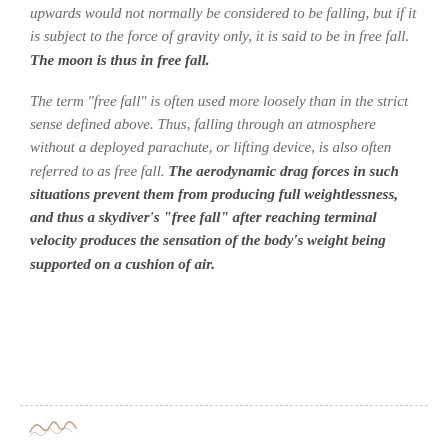upwards would not normally be considered to be falling, but if it is subject to the force of gravity only, it is said to be in free fall. The moon is thus in free fall.
The term "free fall" is often used more loosely than in the strict sense defined above. Thus, falling through an atmosphere without a deployed parachute, or lifting device, is also often referred to as free fall. The aerodynamic drag forces in such situations prevent them from producing full weightlessness, and thus a skydiver's "free fall" after reaching terminal velocity produces the sensation of the body's weight being supported on a cushion of air.